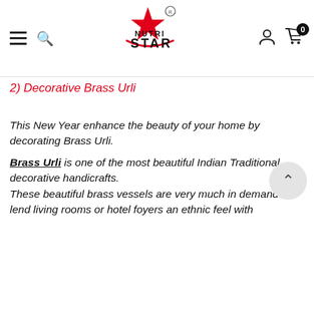[Figure (logo): Nutri Star logo with red star graphic and NUTRI STAR text, with registered trademark symbol]
2) Decorative Brass Urli
This New Year enhance the beauty of your home by decorating Brass Urli.
Brass Urli is one of the most beautiful Indian Traditional decorative handicrafts. These beautiful brass vessels are very much in demand to lend living rooms or hotel foyers an ethnic feel with